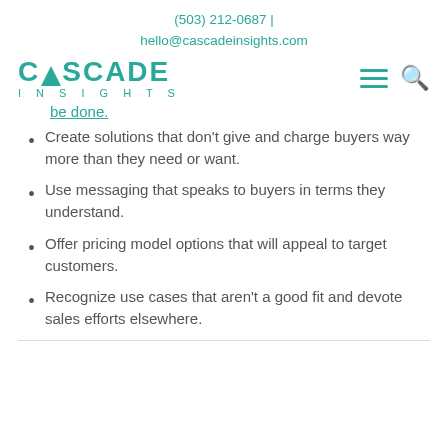(503) 212-0687 | hello@cascadeinsights.com
[Figure (logo): Cascade Insights logo with teal mountain/triangle graphic, nav hamburger menu and search icon]
be done.
Create solutions that don't give and charge buyers way more than they need or want.
Use messaging that speaks to buyers in terms they understand.
Offer pricing model options that will appeal to target customers.
Recognize use cases that aren't a good fit and devote sales efforts elsewhere.